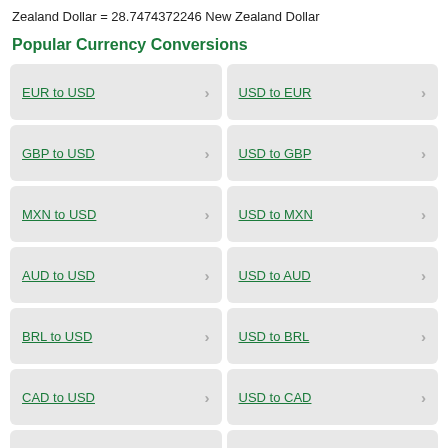Zealand Dollar = 28.7474372246 New Zealand Dollar
Popular Currency Conversions
EUR to USD
USD to EUR
GBP to USD
USD to GBP
MXN to USD
USD to MXN
AUD to USD
USD to AUD
BRL to USD
USD to BRL
CAD to USD
USD to CAD
CHF to USD
USD to CHF
CNY to USD
USD to CNY